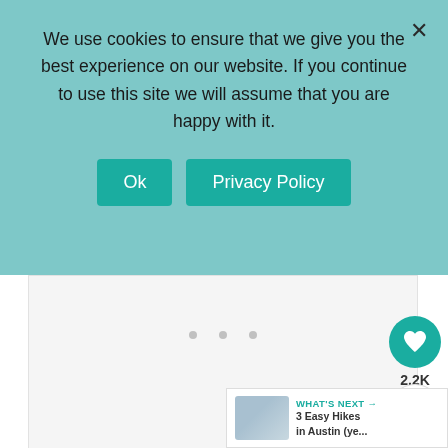We use cookies to ensure that we give you the best experience on our website. If you continue to use this site we will assume that you are happy with it.
Ok
Privacy Policy
[Figure (other): Advertisement placeholder area with three grey dots]
2.2K
Next, head out to enjoy fresh the air in some gr space. The Austin area has a ton of hiking, which was a bit surprising to me! Lots of the tr around water which is a relaxing way to spend the
WHAT'S NEXT → 3 Easy Hikes in Austin (ye...